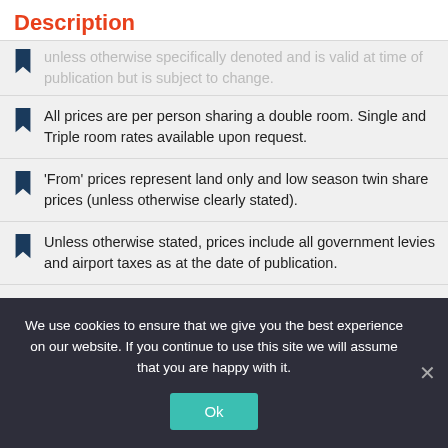Description
unless otherwise specifically denoted and is valid at time of publication but is subject to change.
All prices are per person sharing a double room. Single and Triple room rates available upon request.
'From' prices represent land only and low season twin share prices (unless otherwise clearly stated).
Unless otherwise stated, prices include all government levies and airport taxes as at the date of publication.
Dates, itineraries and prices are indicative
We use cookies to ensure that we give you the best experience on our website. If you continue to use this site we will assume that you are happy with it.